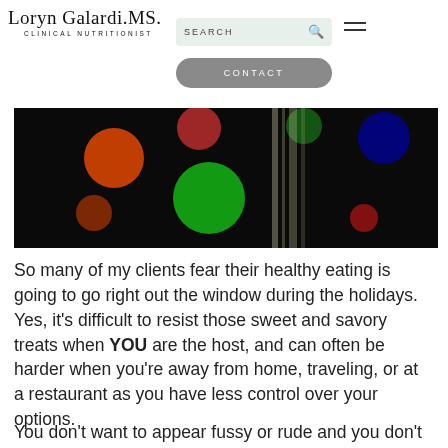Loryn Galardi, MS Clinical Nutritionist | SEARCH | CONTACT
[Figure (photo): Dark background photo with colorful bokeh light orbs (green, red, orange, blue) and reflective vertical lines, resembling a holiday or nighttime scene.]
So many of my clients fear their healthy eating is going to go right out the window during the holidays. Yes, it’s difficult to resist those sweet and savory treats when YOU are the host, and can often be harder when you’re away from home, traveling, or at a restaurant as you have less control over your options.
You don’t want to appear fussy or rude and you don’t want to be the food...